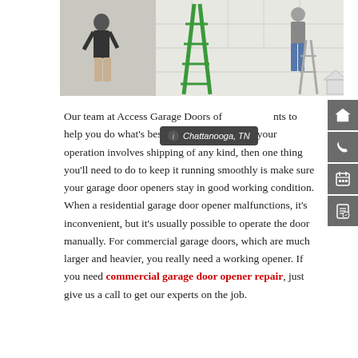[Figure (photo): Two workers in a garage space. One man stands near the left wall wearing a dark polo shirt and holding tools. A green ladder stands in the center. Another worker in jeans stands on a smaller ladder on the right side near a large garage door.]
Our team at Access Garage Doors of Chattanooga, TN wants to help you do what's best for your business. If your operation involves shipping of any kind, then one thing you'll need to do to keep it running smoothly is make sure your garage door openers stay in good working condition. When a residential garage door opener malfunctions, it's inconvenient, but it's usually possible to operate the door manually. For commercial garage doors, which are much larger and heavier, you really need a working opener. If you need commercial garage door opener repair, just give us a call to get our experts on the job.